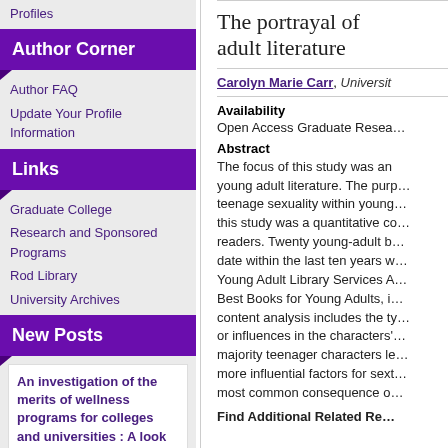Profiles
Author Corner
Author FAQ
Update Your Profile Information
Links
Graduate College
Research and Sponsored Programs
Rod Library
University Archives
New Posts
An investigation of the merits of wellness programs for colleges and universities : A look at developing the whole student
8/15/2022
The portrayal of … adult literature
Carolyn Marie Carr, Universit…
Availability
Open Access Graduate Resea…
Abstract
The focus of this study was an… young adult literature. The purp… teenage sexuality within young… this study was a quantitative co… readers. Twenty young-adult b… date within the last ten years w… Young Adult Library Services A… Best Books for Young Adults, i… content analysis includes the ty… or influences in the characters'… majority teenager characters le… more influential factors for sext… most common consequence o…
Find Additional Related Re…